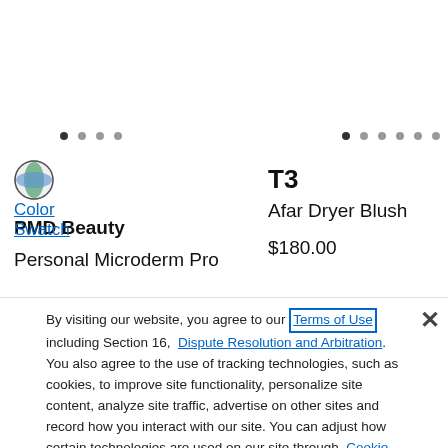[Figure (other): Carousel pagination dots - two groups: left group (4 dots, first active), right group (6 dots, first active)]
[Figure (illustration): Color swatch circular icon with green/blue globe-like swirl pattern]
Color
Swatch
PMD Beauty
Personal Microderm Pro
T3
Afar Dryer Blush
$180.00
By visiting our website, you agree to our Terms of Use including Section 16, Dispute Resolution and Arbitration. You also agree to the use of tracking technologies, such as cookies, to improve site functionality, personalize site content, analyze site traffic, advertise on other sites and record how you interact with our site. You can adjust how certain technologies are used on our site through Cookie Settings.